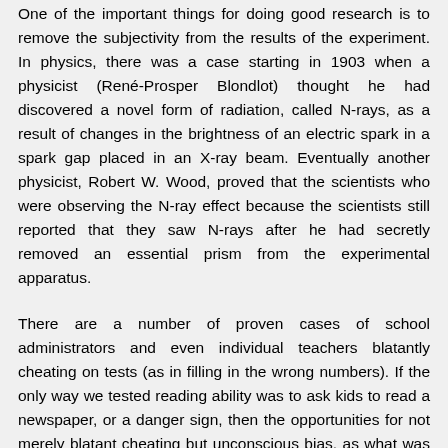One of the important things for doing good research is to remove the subjectivity from the results of the experiment. In physics, there was a case starting in 1903 when a physicist (René-Prosper Blondlot) thought he had discovered a novel form of radiation, called N-rays, as a result of changes in the brightness of an electric spark in a spark gap placed in an X-ray beam. Eventually another physicist, Robert W. Wood, proved that the scientists who were observing the N-ray effect because the scientists still reported that they saw N-rays after he had secretly removed an essential prism from the experimental apparatus.
There are a number of proven cases of school administrators and even individual teachers blatantly cheating on tests (as in filling in the wrong numbers). If the only way we tested reading ability was to ask kids to read a newspaper, or a danger sign, then the opportunities for not merely blatant cheating but unconscious bias, as what was happening in the N-ray case, are endless. If you are to do proper research on reading instruction, you need a standardised achievement test. (You also need a lot of other things, but I'm already in the habit of writing overly...